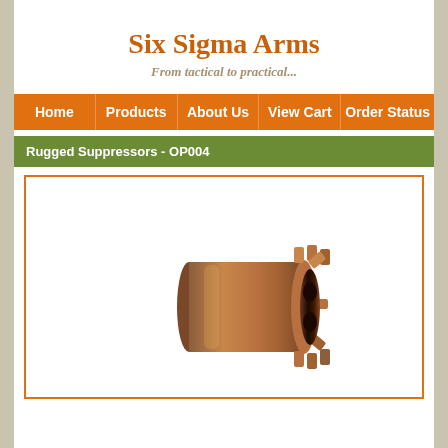Six Sigma Arms
From tactical to practical...
Home | Products | About Us | View Cart | Order Status
Rugged Suppressors - OP004
[Figure (photo): Bronze/copper colored muzzle device (suppressor piston/mount) with gear-tooth style crown, photographed at an angle showing the cylindrical body and open muzzle end with internal baffles visible]